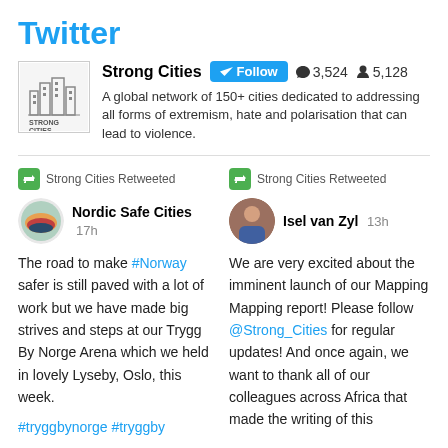Twitter
[Figure (screenshot): Strong Cities profile: logo, Follow button, 3,524 tweets, 5,128 followers, bio text]
Strong Cities Retweeted
[Figure (photo): Nordic Safe Cities avatar - circular logo with colored arcs]
Nordic Safe Cities  17h
The road to make #Norway safer is still paved with a lot of work but we have made big strives and steps at our Trygg By Norge Arena which we held in lovely Lyseby, Oslo, this week.
#tryggbynorge #tryggby
Strong Cities Retweeted
[Figure (photo): Isel van Zyl avatar - person in blue jacket]
Isel van Zyl  13h
We are very excited about the imminent launch of our Mapping Mapping report! Please follow @Strong_Cities for regular updates! And once again, we want to thank all of our colleagues across Africa that made the writing of this